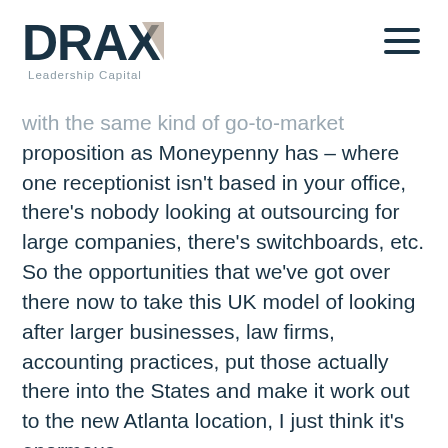DRAX Leadership Capital
with the same kind of go-to-market proposition as Moneypenny has – where one receptionist isn't based in your office, there's nobody looking at outsourcing for large companies, there's switchboards, etc. So the opportunities that we've got over there now to take this UK model of looking after larger businesses, law firms, accounting practices, put those actually there into the States and make it work out to the new Atlanta location, I just think it's enormous.
Plus there's the live chat opportunity too. We've really grown live chat over the past 18